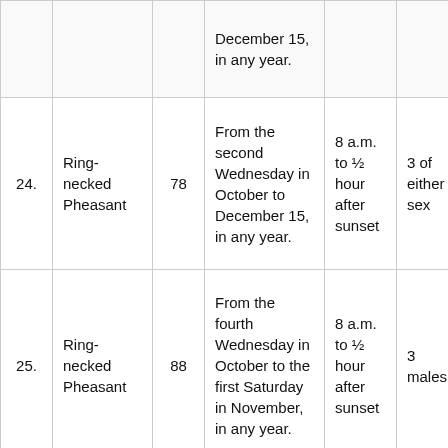| Item | Species | Section | Open Season | Hours | Bag Limit |
| --- | --- | --- | --- | --- | --- |
|  |  |  | December 15, in any year. |  |  |
| 24. | Ring-necked Pheasant | 78 | From the second Wednesday in October to December 15, in any year. | 8 a.m. to ½ hour after sunset | 3 of either sex |
| 25. | Ring-necked Pheasant | 88 | From the fourth Wednesday in October to the first Saturday in November, in any year. | 8 a.m. to ½ hour after sunset | 3 males |
| 26. | Ring-necked Pheasant | 89, 90, | From the third Wednesday in October to... |  | 3 of either |